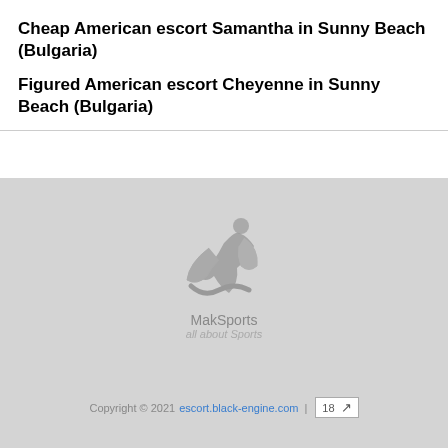Cheap American escort Samantha in Sunny Beach (Bulgaria)
Figured American escort Cheyenne in Sunny Beach (Bulgaria)
[Figure (logo): MakSports logo with stylized figure and text 'MakSports all about Sports']
Copyright © 2021 escort.black-engine.com | 18 ↗